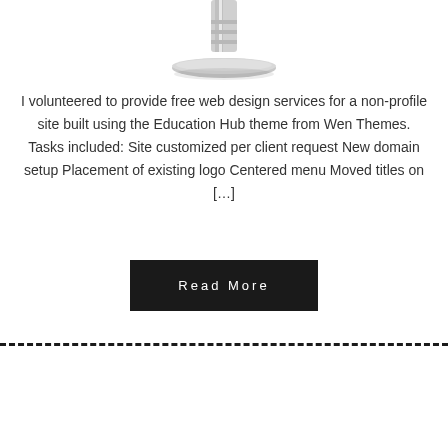[Figure (illustration): Partial view of a silver/metallic monitor stand or laptop stand cropped at top of page]
I volunteered to provide free web design services for a non-profile site built using the Education Hub theme from Wen Themes. Tasks included: Site customized per client request New domain setup Placement of existing logo Centered menu Moved titles on […]
Read More
— dashed divider line —